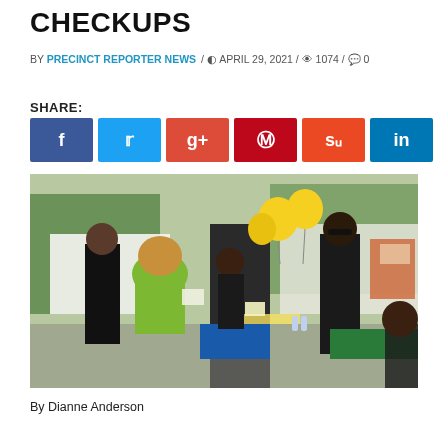CHECKUPS
BY PRECINCT REPORTER NEWS / APRIL 29, 2021 / 1074 / 0
SHARE:
[Figure (other): Social media share buttons: Facebook, Twitter, Google+, Pinterest, StumbleUpon, LinkedIn]
[Figure (photo): Outdoor community health fair or event with vendor booths. A woman in a bright green shirt is handing materials to attendees. Yellow balloons visible in background. Various vendor tents and tables with green tablecloths visible.]
By Dianne Anderson